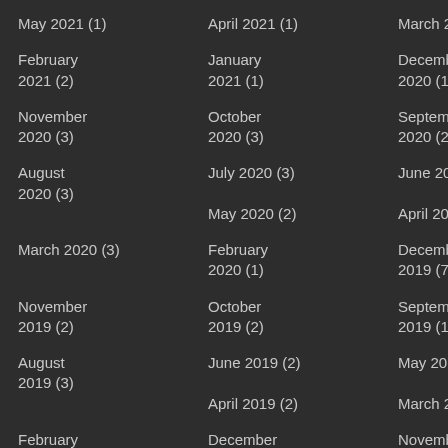May 2021 (1)
April 2021 (1)
March 2021 (1)
February 2021 (2)
January 2021 (1)
December 2020 (1)
November 2020 (3)
October 2020 (3)
September 2020 (2)
August 2020 (3)
July 2020 (3)
June 2020 (5)
May 2020 (2)
April 2020 (2)
March 2020 (3)
February 2020 (1)
December 2019 (7)
November 2019 (2)
October 2019 (2)
September 2019 (1)
August 2019 (3)
June 2019 (2)
May 2019 (4)
April 2019 (2)
March 2019 (6)
February 2019 (2)
December 2018 (2)
November 2018 (1)
October
July 2018 (1)
June 2018 (3)